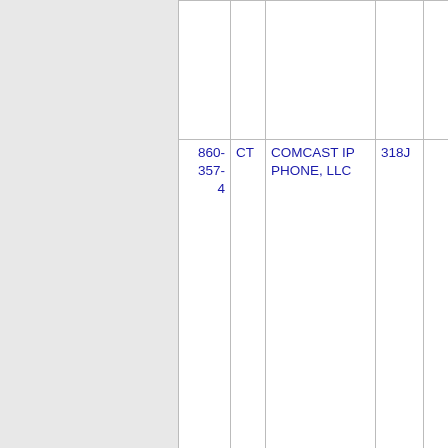| Number | State | Carrier | Code |  |
| --- | --- | --- | --- | --- |
|  |  |  |  |  |
| 860-357-4 | CT | COMCAST IP PHONE, LLC | 318J |  |
| 860-357-5 | CT | LEVEL 3 COMMUNICATIONS, LLC - (CenturyLink, Inc) | 4800 |  |